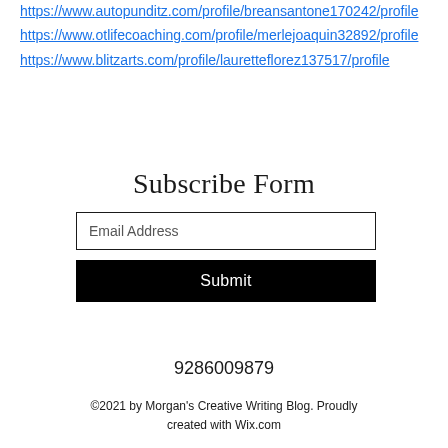https://www.autopunditz.com/profile/breansantone170242/profile
https://www.otlifecoaching.com/profile/merlejoaquin32892/profile
https://www.blitzarts.com/profile/lauretteflorez137517/profile
Subscribe Form
Email Address
Submit
9286009879
©2021 by Morgan's Creative Writing Blog. Proudly created with Wix.com